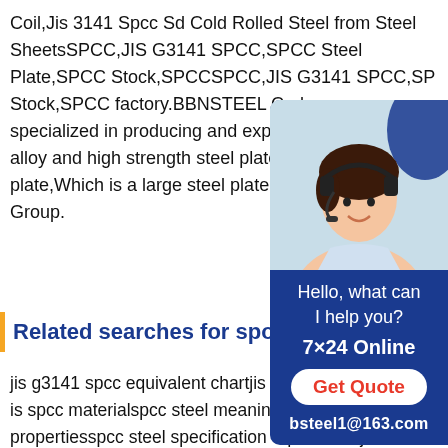Coil,Jis 3141 Spcc Sd Cold Rolled Steel from Steel SheetsSPCC,JIS G3141 SPCC,SPCC Steel Plate,SPCC Stock,SPCCSPCC,JIS G3141 SPCC,SPCC Stock,SPCC factory.BBNSTEEL Carbon specialized in producing and exporting JIS alloy and high strength steel plate,heavy plate,Which is a large steel plate supplier Group.
[Figure (illustration): Chat widget with photo of a woman wearing a headset, text 'Hello, what can I help you?', '7x24 Online', 'Get Quote' button, 'bsteel1@163.com' on dark blue background]
Related searches for spc
jis g3141 spcc equivalent chartjis g3141 equivalentwhat is spcc materialspcc steel meaningspcc material propertiesspcc steel specification equivalentsjis g3141Related searches for spcc materialsjis g3141 spcc equivalent chartspcc material propertiesjis g3141 spcc sdfree spcc plan templatespcc material meaningspcc material equivalentjis g3141 2017spcc specificationRelated searches for spcc jis standardjis g3141 spcc